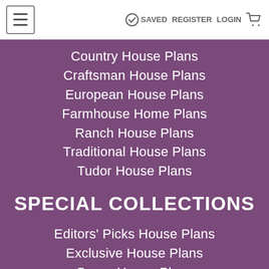≡  ✓ SAVED  REGISTER  LOGIN  🛒
Country House Plans
Craftsman House Plans
European House Plans
Farmhouse Home Plans
Ranch House Plans
Traditional House Plans
Tudor House Plans
SPECIAL COLLECTIONS
Editors' Picks House Plans
Exclusive House Plans
Green House Plans
Luxury House Plans
Newest House Plans
Starter House Plans